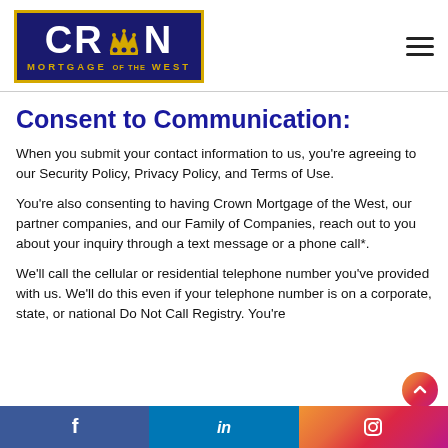[Figure (logo): Crown Mortgage of the West logo — dark navy blue box with gold border, large white text 'CROWN' with a gold crown icon replacing the 'O', gold subtitle 'MORTGAGE OF THE WEST']
Consent to Communication:
When you submit your contact information to us, you're agreeing to our Security Policy, Privacy Policy, and Terms of Use.
You're also consenting to having Crown Mortgage of the West, our partner companies, and our Family of Companies, reach out to you about your inquiry through a text message or a phone call*.
We'll call the cellular or residential telephone number you've provided with us. We'll do this even if your telephone number is on a corporate, state, or national Do Not Call Registry. You're NOT obligated to purchase any product or service...
Social media links: Facebook, LinkedIn, Instagram